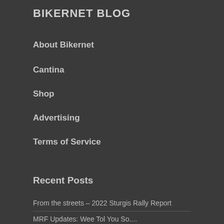BIKERNET BLOG
About Bikernet
Cantina
Shop
Advertising
Terms of Service
Recent Posts
From the streets – 2022 Sturgis Rally Report
MRF Updates: Wee Tol You So....